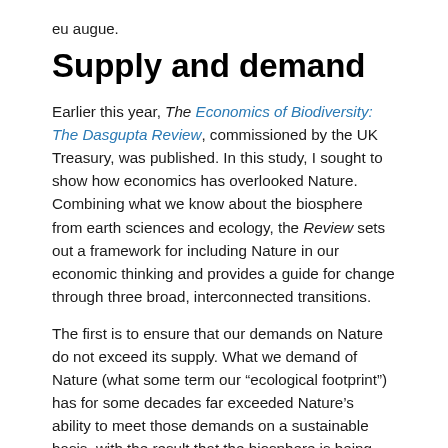eu augue.
Supply and demand
Earlier this year, The Economics of Biodiversity: The Dasgupta Review, commissioned by the UK Treasury, was published. In this study, I sought to show how economics has overlooked Nature. Combining what we know about the biosphere from earth sciences and ecology, the Review sets out a framework for including Nature in our economic thinking and provides a guide for change through three broad, interconnected transitions.
The first is to ensure that our demands on Nature do not exceed its supply. What we demand of Nature (what some term our "ecological footprint") has for some decades far exceeded Nature's ability to meet those demands on a sustainable basis, with the result that the biosphere is being degraded at an